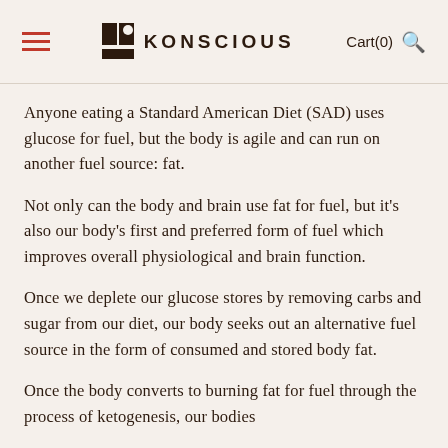KONSCIOUS  Cart(0)
Anyone eating a Standard American Diet (SAD) uses glucose for fuel, but the body is agile and can run on another fuel source: fat.
Not only can the body and brain use fat for fuel, but it's also our body's first and preferred form of fuel which improves overall physiological and brain function.
Once we deplete our glucose stores by removing carbs and sugar from our diet, our body seeks out an alternative fuel source in the form of consumed and stored body fat.
Once the body converts to burning fat for fuel through the process of ketogenesis, our bodies become fat burning machines and increase our...